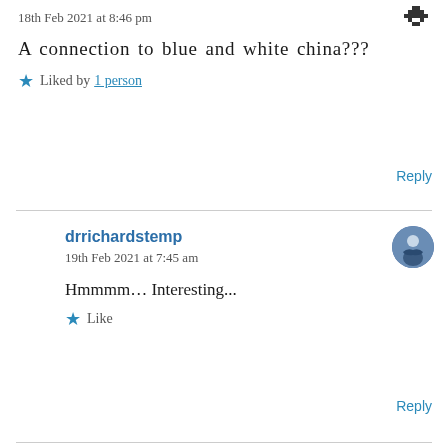18th Feb 2021 at 8:46 pm
A connection to blue and white china???
★ Liked by 1 person
Reply
drrichardstemp
19th Feb 2021 at 7:45 am
Hmmmm… Interesting...
★ Like
Reply